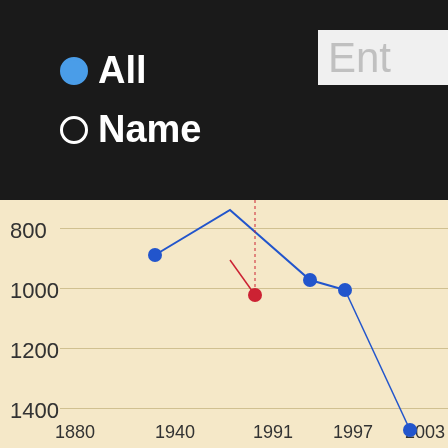[Figure (screenshot): Website UI showing radio buttons for All and Name search options with partial text input box labeled Ent, overlaid on a line chart showing ranking data over years 1880-2003 with y-axis from 800 to 2000, and a cookie consent modal dialog with Yes I agree, I disagree, and Read more buttons]
We use cookies
This website uses cookies to improve user experience. By using our website you consent to all cookies in accordance with our Cookie Policy.
Yes I agree
I disagree
Read more
Free cookie consent by cookie-script.com